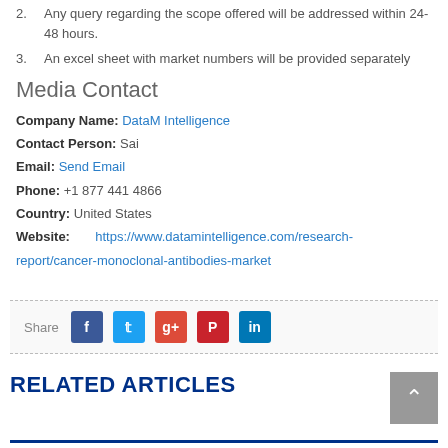2. Any query regarding the scope offered will be addressed within 24- 48 hours.
3. An excel sheet with market numbers will be provided separately
Media Contact
Company Name: DataM Intelligence
Contact Person: Sai
Email: Send Email
Phone: +1 877 441 4866
Country: United States
Website: https://www.datamintelligence.com/research-report/cancer-monoclonal-antibodies-market
Share
RELATED ARTICLES